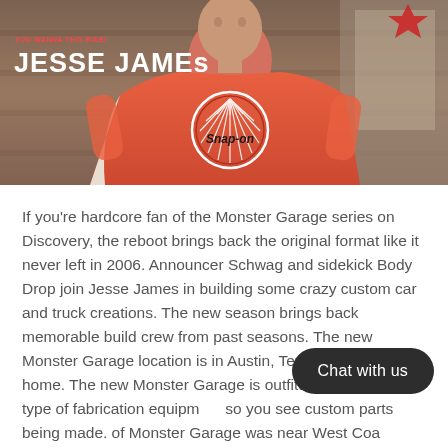[Figure (photo): Man wearing an orange Snap-on branded t-shirt standing in what appears to be a garage/workshop setting. Text overlay reads 'JESSE JAMES' with a subtitle above it.]
JESSE JAMES
If you're hardcore fan of the Monster Garage series on Discovery, the reboot brings back the original format like it never left in 2006. Announcer Schwag and sidekick Body Drop join Jesse James in building some crazy custom car and truck creations. The new season brings back memorable build crew from past seasons. The new Monster Garage location is in Austin, Texas near Jesse's home. The new Monster Garage is outfitted with every type of fabrication equipment so you see custom parts being made. of Monster Garage was near West Coast Long Beach, California. This reboot of the new Monster Garage series has some epic moments. You get to see